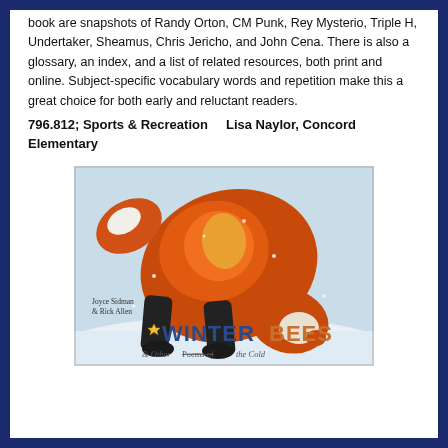book are snapshots of Randy Orton, CM Punk, Rey Mysterio, Triple H, Undertaker, Sheamus, Chris Jericho, and John Cena. There is also a glossary, an index, and a list of related resources, both print and online. Subject-specific vocabulary words and repetition make this a great choice for both early and reluctant readers.
796.812; Sports & Recreation    Lisa Naylor, Concord Elementary
[Figure (illustration): Book cover of 'Winter Bees & Other Poems of the Cold' by Joyce Sidman and Rick Allen, showing a red fox hunched over in snow]